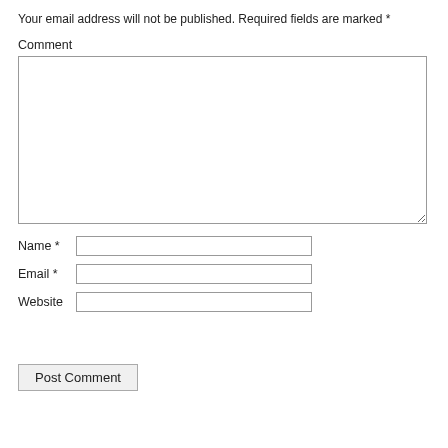Your email address will not be published. Required fields are marked *
Comment
Name *
Email *
Website
Post Comment